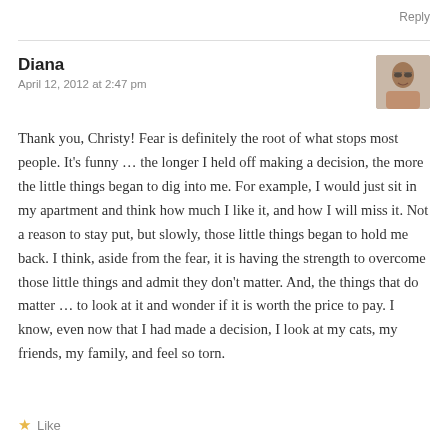Reply
Diana
April 12, 2012 at 2:47 pm
[Figure (photo): Small avatar photo of a woman wearing glasses]
Thank you, Christy! Fear is definitely the root of what stops most people. It's funny … the longer I held off making a decision, the more the little things began to dig into me. For example, I would just sit in my apartment and think how much I like it, and how I will miss it. Not a reason to stay put, but slowly, those little things began to hold me back. I think, aside from the fear, it is having the strength to overcome those little things and admit they don't matter. And, the things that do matter … to look at it and wonder if it is worth the price to pay. I know, even now that I had made a decision, I look at my cats, my friends, my family, and feel so torn.
Like